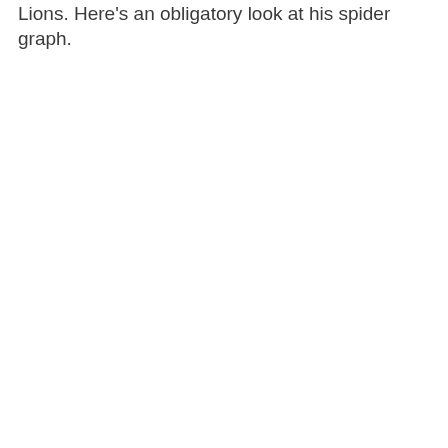Lions. Here's an obligatory look at his spider graph.